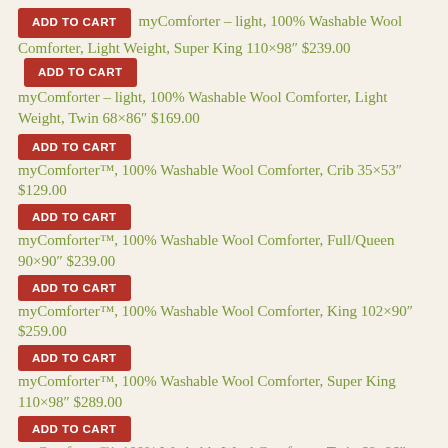ADD TO CART  myComforter – light, 100% Washable Wool Comforter, Light Weight, Super King 110×98" $239.00  ADD TO CART  myComforter – light, 100% Washable Wool Comforter, Light Weight, Twin 68×86" $169.00
ADD TO CART  myComforter™, 100% Washable Wool Comforter, Crib 35×53" $129.00
ADD TO CART  myComforter™, 100% Washable Wool Comforter, Full/Queen 90×90" $239.00
ADD TO CART  myComforter™, 100% Washable Wool Comforter, King 102×90" $259.00
ADD TO CART  myComforter™, 100% Washable Wool Comforter, Super King 110×98" $289.00
ADD TO CART  myComforter™, 100% Washable Wool Comforter, Twin 68×86" $219.00
ADD TO CART